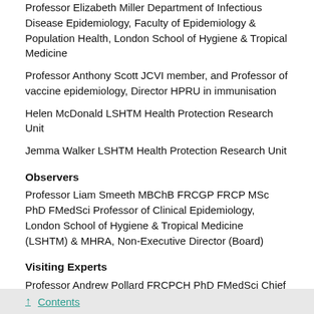Professor Elizabeth Miller Department of Infectious Disease Epidemiology, Faculty of Epidemiology & Population Health, London School of Hygiene & Tropical Medicine
Professor Anthony Scott JCVI member, and Professor of vaccine epidemiology, Director HPRU in immunisation
Helen McDonald LSHTM Health Protection Research Unit
Jemma Walker LSHTM Health Protection Research Unit
Observers
Professor Liam Smeeth MBChB FRCGP FRCP MSc PhD FMedSci Professor of Clinical Epidemiology, London School of Hygiene & Tropical Medicine (LSHTM) & MHRA, Non-Executive Director (Board)
Visiting Experts
Professor Andrew Pollard FRCPCH PhD FMedSci Chief
↑ Contents